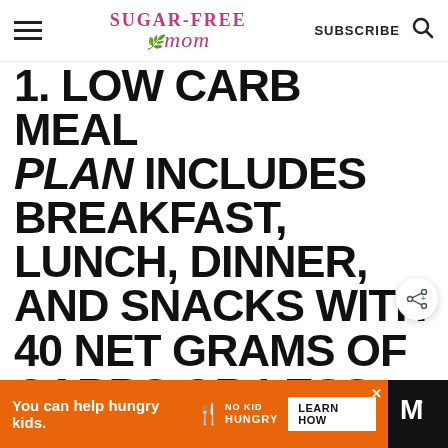Sugar-Free Mom — SUBSCRIBE
1. LOW CARB MEAL PLAN INCLUDES BREAKFAST, LUNCH, DINNER, AND SNACKS WITH 40 NET GRAMS OF CARBS OR LESS PER DAY.
You can help hungry kids. NO KID HUNGRY LEARN HOW